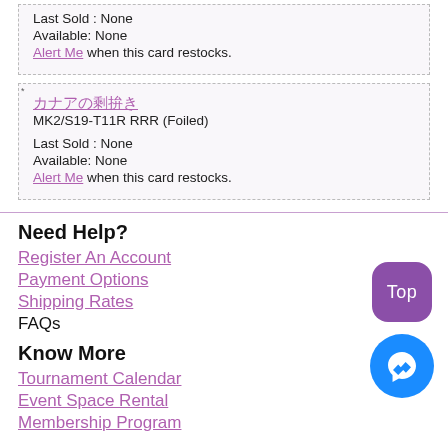Last Sold : None
Available: None
Alert Me when this card restocks.
* [Japanese text] MK2/S19-T11R RRR (Foiled)
Last Sold : None
Available: None
Alert Me when this card restocks.
Need Help?
Register An Account
Payment Options
Shipping Rates
FAQs
Know More
Tournament Calendar
Event Space Rental
Membership Program